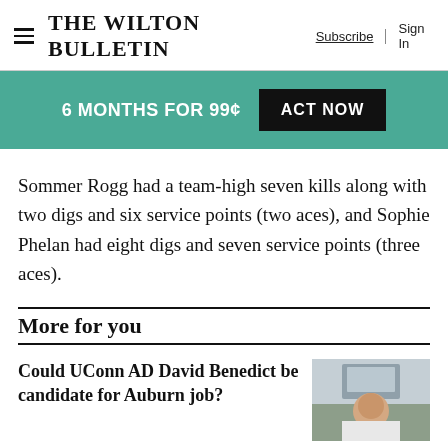The Wilton Bulletin | Subscribe | Sign In
[Figure (infographic): Promotional banner: 6 MONTHS FOR 99¢ ACT NOW on teal background]
Sommer Rogg had a team-high seven kills along with two digs and six service points (two aces), and Sophie Phelan had eight digs and seven service points (three aces).
More for you
Could UConn AD David Benedict be candidate for Auburn job?
[Figure (photo): Outdoor photo of a man in a white polo shirt near a sports facility sign]